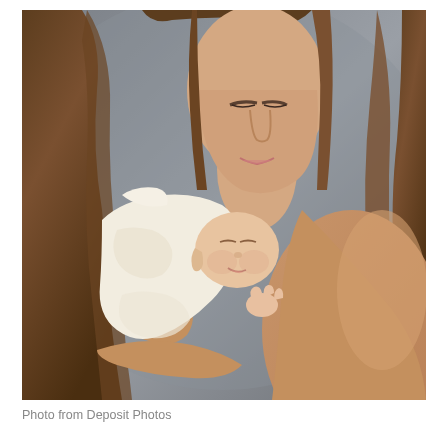[Figure (photo): A woman with long brown hair holding a sleeping newborn baby wrapped in a white towel/blanket against her chest, photographed against a gray background. The woman is smiling softly, looking down at the baby. The baby's face is visible and eyes are closed.]
Photo from Deposit Photos